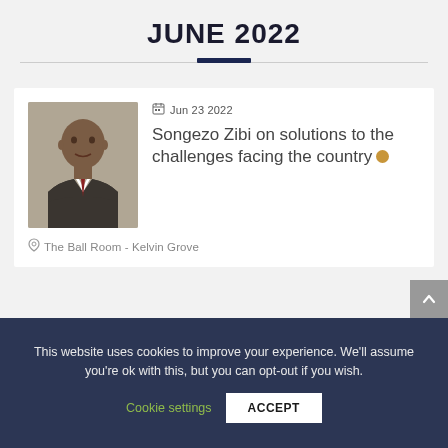JUNE 2022
[Figure (photo): Headshot of Songezo Zibi, a man in a suit and tie]
Jun 23 2022
Songezo Zibi on solutions to the challenges facing the country
The Ball Room - Kelvin Grove
This website uses cookies to improve your experience. We'll assume you're ok with this, but you can opt-out if you wish.
Cookie settings
ACCEPT